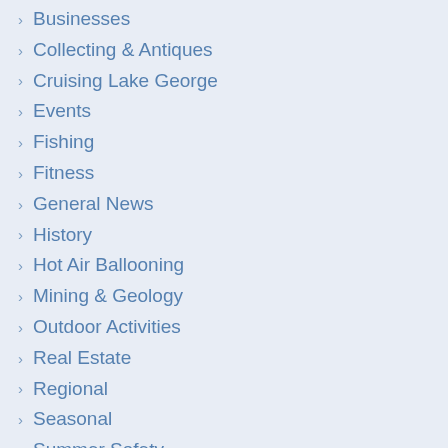Businesses
Collecting & Antiques
Cruising Lake George
Events
Fishing
Fitness
General News
History
Hot Air Ballooning
Mining & Geology
Outdoor Activities
Real Estate
Regional
Seasonal
Summer Safety